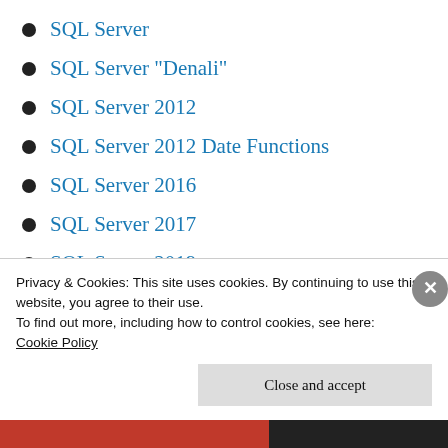SQL Server
SQL Server "Denali"
SQL Server 2012
SQL Server 2012 Date Functions
SQL Server 2016
SQL Server 2017
SQL Server 2019
SQL Server Backup
SQL Server Cloud Backup
SQL Server Data Tools
SQL Server Diagnostics
Privacy & Cookies: This site uses cookies. By continuing to use this website, you agree to their use.
To find out more, including how to control cookies, see here:
Cookie Policy
Close and accept